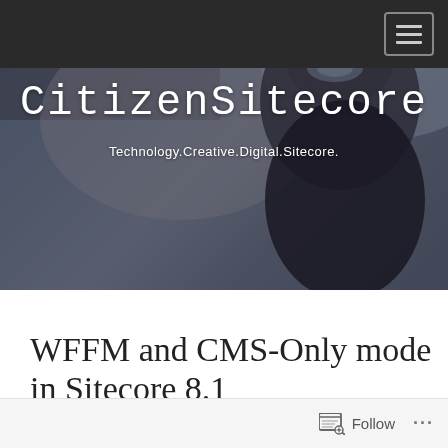[Figure (photo): Website header photo of a person wearing sunglasses and a hoodie outdoors, with the CitizenSitecore blog title and subtitle overlaid on a dark background]
CitizenSitecore
Technology.Creative.Digital.Sitecore.
WFFM and CMS-Only mode in Sitecore 8.1
Follow ...